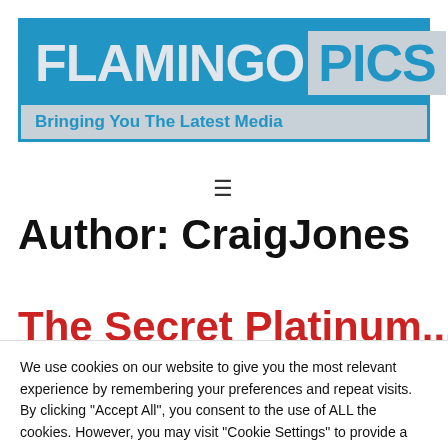[Figure (logo): Flamingo Pics logo — blue background with light gray 'FLAMINGO' text and a gray box containing blue 'PICS' text, with tagline 'Bringing You The Latest Media' on gray background below]
≡
Author: CraigJones
The Secret Platinum...
We use cookies on our website to give you the most relevant experience by remembering your preferences and repeat visits. By clicking "Accept All", you consent to the use of ALL the cookies. However, you may visit "Cookie Settings" to provide a controlled consent.
Cookie Settings | Accept All